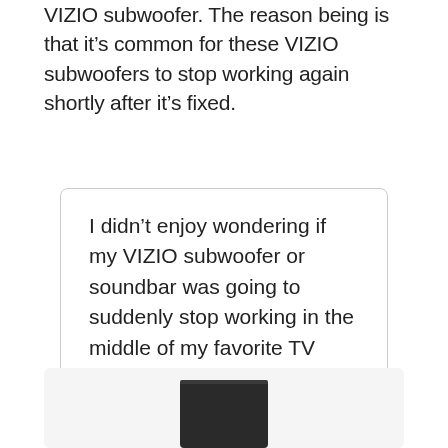VIZIO subwoofer. The reason being is that it's common for these VIZIO subwoofers to stop working again shortly after it's fixed.
I didn't enjoy wondering if my VIZIO subwoofer or soundbar was going to suddenly stop working in the middle of my favorite TV series again.
[Figure (photo): Photo of a black VIZIO soundbar/subwoofer device shown from the front, partially visible at the bottom of the page, against a light gray background.]